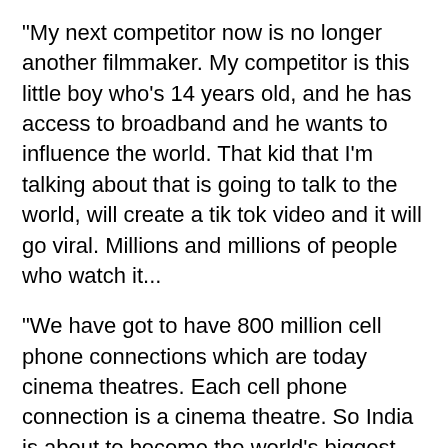"My next competitor now is no longer another filmmaker. My competitor is this little boy who's 14 years old, and he has access to broadband and he wants to influence the world. That kid that I'm talking about that is going to talk to the world, will create a tik tok video and it will go viral. Millions and millions of people who watch it...
"We have got to have 800 million cell phone connections which are today cinema theatres. Each cell phone connection is a cinema theatre. So India is about to become the world's biggest influence economy because these kids will come out and influence the culture of the world. We're going to have to redefine what we mean by cinema," he said. Delhi-based filmmaker Shaunak Sen's documentary "All That Breathes" and Pratham Khurana's short film in Le Cinef (a competition for film schools) are India's only cinematic